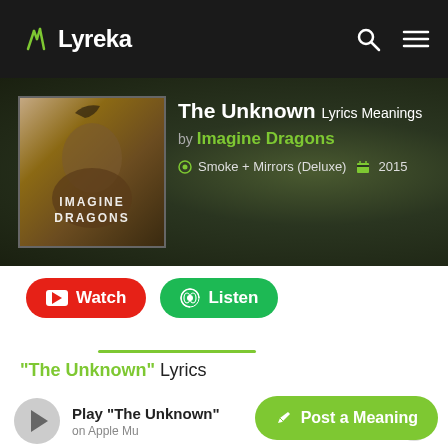Lyreka
The Unknown Lyrics Meanings by Imagine Dragons
Smoke + Mirrors (Deluxe)  2015
Watch  Listen
"The Unknown" Lyrics
Play "The Unknown" on Apple Music
Post a Meaning